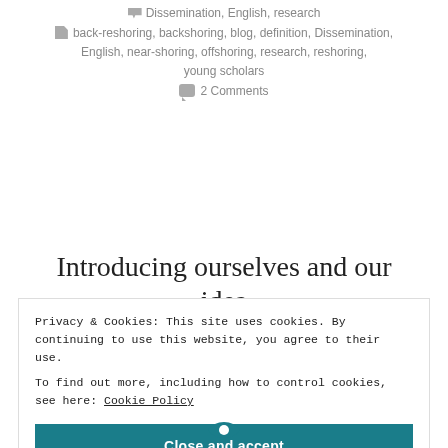Dissemination, English, research
back-reshoring, backshoring, blog, definition, Dissemination, English, near-shoring, offshoring, research, reshoring, young scholars
2 Comments
Introducing ourselves and our idea
Privacy & Cookies: This site uses cookies. By continuing to use this website, you agree to their use.
To find out more, including how to control cookies, see here: Cookie Policy
Close and accept